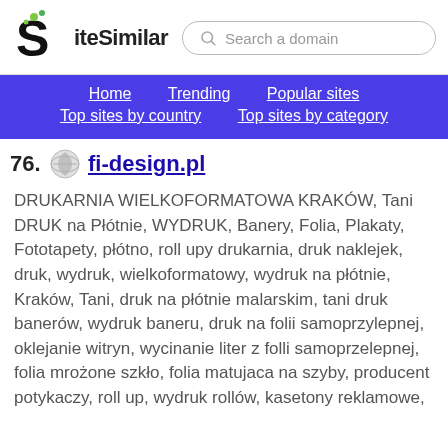SiteSimilar — Search a domain
Home | Trending | Popular sites | Top sites by country | Top sites by category
76. fi-design.pl
DRUKARNIA WIELKOFORMATOWA KRAKÓW, Tani DRUK na Płótnie, WYDRUK, Banery, Folia, Plakaty, Fototapety, płótno, roll upy drukarnia, druk naklejek, druk, wydruk, wielkoformatowy, wydruk na płótnie, Kraków, Tani, druk na płótnie malarskim, tani druk banerów, wydruk baneru, druk na folii samoprzylepnej, oklejanie witryn, wycinanie liter z folli samoprzelepnej, folia mrożone szkło, folia matujaca na szyby, producent potykaczy, roll up, wydruk rollów, kasetony reklamowe,